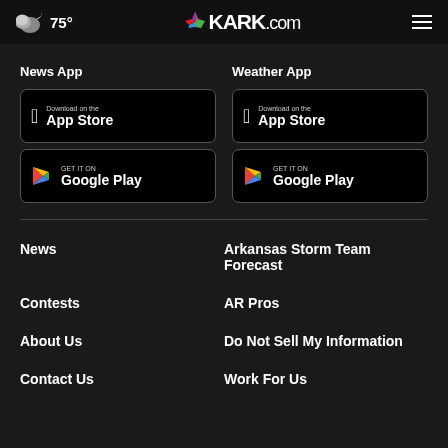75° KARK.com
News App
Weather App
[Figure (screenshot): Download on the App Store button]
[Figure (screenshot): GET IT ON Google Play button]
[Figure (screenshot): Download on the App Store button]
[Figure (screenshot): GET IT ON Google Play button]
News
Arkansas Storm Team Forecast
Contests
AR Pros
About Us
Do Not Sell My Information
Contact Us
Work For Us